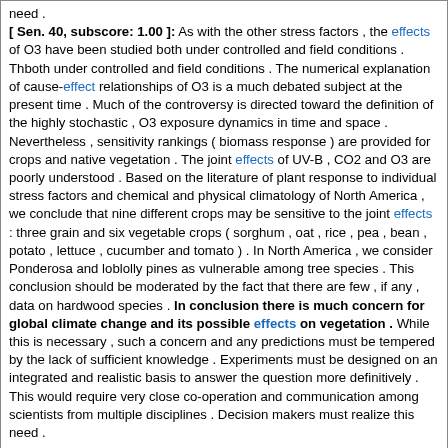need . [ Sen. 40, subscore: 1.00 ]: As with the other stress factors , the effects of O3 have been studied both under controlled and field conditions . Thboth under controlled and field conditions . The numerical explanation of cause-effect relationships of O3 is a much debated subject at the present time . Much of the controversy is directed toward the definition of the highly stochastic , O3 exposure dynamics in time and space . Nevertheless , sensitivity rankings ( biomass response ) are provided for crops and native vegetation . The joint effects of UV-B , CO2 and O3 are poorly understood . Based on the literature of plant response to individual stress factors and chemical and physical climatology of North America , we conclude that nine different crops may be sensitive to the joint effects : three grain and six vegetable crops ( sorghum , oat , rice , pea , bean , potato , lettuce , cucumber and tomato ) . In North America , we consider Ponderosa and loblolly pines as vulnerable among tree species . This conclusion should be moderated by the fact that there are few , if any , data on hardwood species . In conclusion there is much concern for global climate change and its possible effects on vegetation . While this is necessary , such a concern and any predictions must be tempered by the lack of sufficient knowledge . Experiments must be designed on an integrated and realistic basis to answer the question more definitively . This would require very close co-operation and communication among scientists from multiple disciplines . Decision makers must realize this need .
Score: 12.00
Title: Cytoplasm affects grain weight and filled-grain ratio in indica rice .
Journal: BMC Genet
Literature: oryza Field: abstract Doc ID: pub21631950 Accession